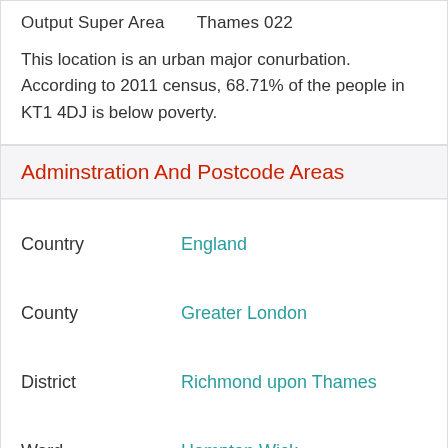Output Super Area    Thames 022
This location is an urban major conurbation. According to 2011 census, 68.71% of the people in KT1 4DJ is below poverty.
Adminstration And Postcode Areas
| Field | Value |
| --- | --- |
| Country | England |
| County | Greater London |
| District | Richmond upon Thames |
| Ward | Hampton Wick |